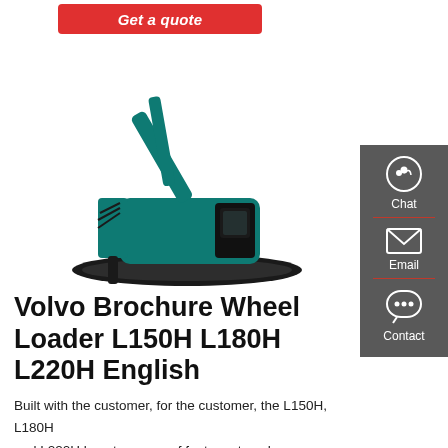Get a quote
[Figure (photo): A large teal/green SUNWARD hydraulic excavator with a hydraulic breaker attachment, mounted on black tracks, photographed on a white background.]
[Figure (infographic): Sidebar with Chat (headset icon), Email (envelope icon), and Contact (speech bubble icon) buttons on a dark grey background.]
Volvo Brochure Wheel Loader L150H L180H L220H English
Built with the customer, for the customer, the L150H, L180H and L220H boast a range of features to enhance your